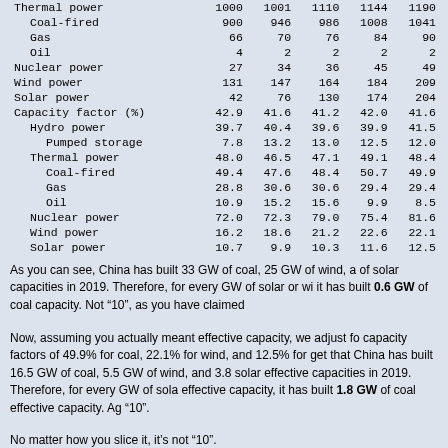|  | 2015 | 2016 | 2017 | 2018 | 2019 |
| --- | --- | --- | --- | --- | --- |
| Thermal power | 1000 | 1001 | 1110 | 1144 | 1190 |
|   Coal-fired | 900 | 946 | 986 | 1008 | 1041 |
|   Gas | 66 | 70 | 76 | 84 | 90 |
|   Oil | 4 | 2 | 2 | 2 | 2 |
| Nuclear power | 27 | 34 | 36 | 45 | 49 |
| Wind power | 131 | 147 | 164 | 184 | 209 |
| Solar power | 42 | 76 | 130 | 174 | 204 |
| Capacity factor (%) | 42.9 | 41.6 | 41.2 | 42.0 | 41.6 |
|   Hydro power | 39.7 | 40.4 | 39.6 | 39.9 | 41.5 |
|     Pumped storage | 7.8 | 13.2 | 13.0 | 12.5 | 12.0 |
|   Thermal power | 48.0 | 46.5 | 47.1 | 49.1 | 48.4 |
|     Coal-fired | 49.4 | 47.6 | 48.4 | 50.7 | 49.9 |
|     Gas | 28.8 | 30.6 | 30.6 | 29.4 | 29.4 |
|     Oil | 10.9 | 15.2 | 15.6 | 9.9 | 8.5 |
|   Nuclear power | 72.0 | 72.3 | 79.0 | 75.4 | 81.6 |
|   Wind power | 16.2 | 18.6 | 21.2 | 22.6 | 22.1 |
|   Solar power | 10.7 | 9.9 | 10.3 | 11.6 | 12.5 |
As you can see, China has built 33 GW of coal, 25 GW of wind, and 30 GW of solar capacities in 2019. Therefore, for every GW of solar or wind capacity it has built 0.6 GW of coal capacity. Not “10”, as you have claimed.
Now, assuming you actually meant effective capacity, we adjust for the capacity factors of 49.9% for coal, 22.1% for wind, and 12.5% for solar. We get that China has built 16.5 GW of coal, 5.5 GW of wind, and 3.8 GW of solar effective capacities in 2019. Therefore, for every GW of solar or wind effective capacity, it has built 1.8 GW of coal effective capacity. Again, not “10”.
No matter how you slice it, it’s not “10”.